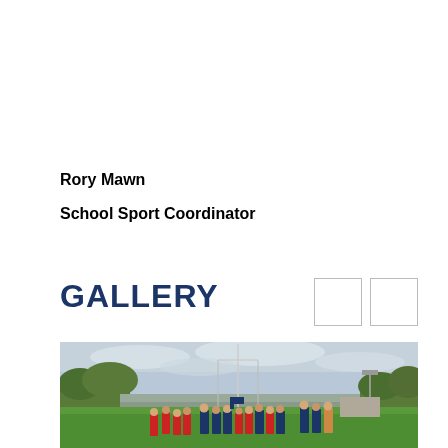Rory Mawn
School Sport Coordinator
GALLERY
[Figure (photo): Students in red and yellow/navy sports kits gathered on a rugby/sports field with goalposts, trees and overcast sky in background]